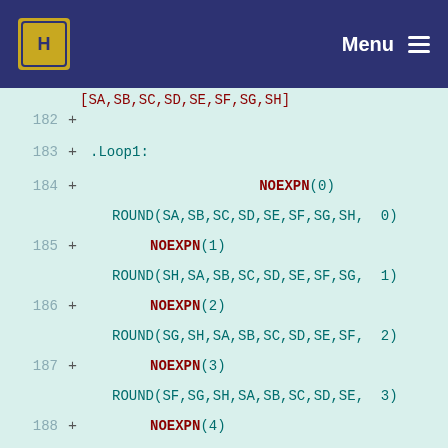Menu
[SA,SB,SC,SD,SE,SF,SG,SH]
182 + 
183 + .Loop1:
184 + NOEXPN(0)
    ROUND(SA,SB,SC,SD,SE,SF,SG,SH, 0)
185 + NOEXPN(1)
    ROUND(SH,SA,SB,SC,SD,SE,SF,SG, 1)
186 + NOEXPN(2)
    ROUND(SG,SH,SA,SB,SC,SD,SE,SF, 2)
187 + NOEXPN(3)
    ROUND(SF,SG,SH,SA,SB,SC,SD,SE, 3)
188 + NOEXPN(4)
    ROUND(SE,SF,SG,SH,SA,SB,SC,SD, 4)
189 + NOEXPN(5)
    ROUND(SD,SE,SF,SG,SH,SA,SB,SC, 5)
190 + NOEXPN(6)
    ROUND(SC,SD,SE,SF,SG,SH,SA,SB, 6)
191 + NOEXPN(7)
    ROUND(SB,SC,SD,SE,SF,SG,SH,SA, 7)
192 + subs      COUNT,#1
193 ...